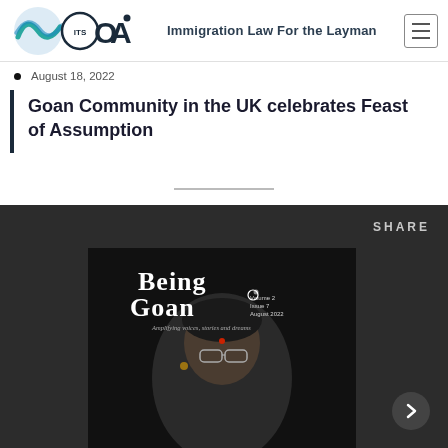ITS OA – Immigration Law For the Layman
August 18, 2022
Goan Community in the UK celebrates Feast of Assumption
[Figure (photo): Cover of 'Being Goan' magazine, Volume 2, Issue 7, August 2022 – Amplifying voices, stories and dreams. Features a portrait of an elderly woman with glasses and a bindi, against a dark background.]